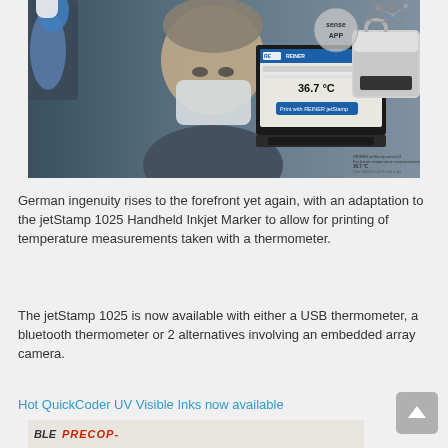[Figure (photo): Photo of a man wearing a face mask being temperature scanned with a handheld thermometer (blue-gloved hand holding device to forehead). Behind him is a laptop displaying a REINER screen showing 36.7°C temperature reading and a 'Print with REINER jetStamp' button. To the right is a REINER jetStamp printing device. Top right shows a circular 'Sense APP' icon and network graphics.]
German ingenuity rises to the forefront yet again, with an adaptation to the jetStamp 1025 Handheld Inkjet Marker to allow for printing of temperature measurements taken with a thermometer.
The jetStamp 1025 is now available with either a USB thermometer, a bluetooth thermometer or 2 alternatives involving an embedded array camera.
Hot QuickCoder UV Visible Inks now available
[Figure (photo): Bottom strip showing a logo/image for a product - partially visible at bottom of page]